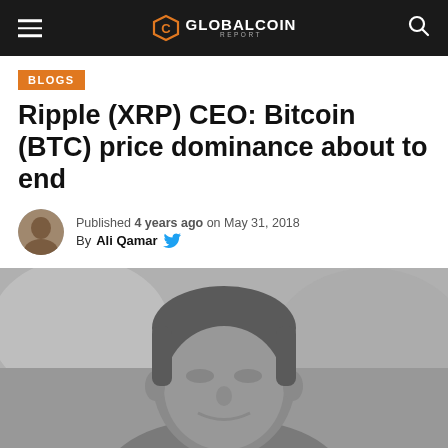Global Coin Report
BLOGS
Ripple (XRP) CEO: Bitcoin (BTC) price dominance about to end
Published 4 years ago on May 31, 2018
By Ali Qamar
[Figure (photo): Black and white portrait photo of a middle-aged man smiling, photographed from neck up, blurred background]
Bitcoin(BTC) $21,693.00 ↑ 1.10%   Ethereum(ETH) $1,680.84 ↑ 2.7